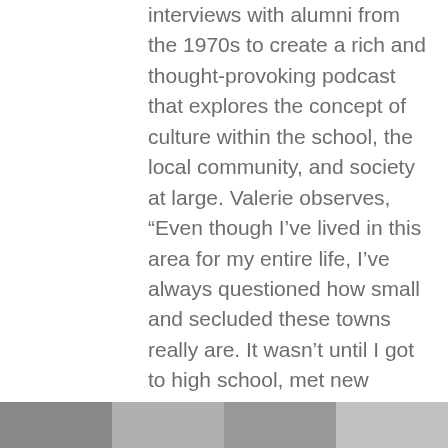interviews with alumni from the 1970s to create a rich and thought-provoking podcast that explores the concept of culture within the school, the local community, and society at large. Valerie observes, “Even though I’ve lived in this area for my entire life, I’ve always questioned how small and secluded these towns really are. It wasn’t until I got to high school, met new students and HVRHS faculty, and got more involved with my community that I learned that this area and the school has a history of its own.”
Valerie collaborated with Housatonic Heritage Executive Director Dan Bolognani, Housatonic Heritage Oral History Center at Berkshire Community
[Figure (photo): Bottom strip of a photograph, partially visible at the bottom of the page]